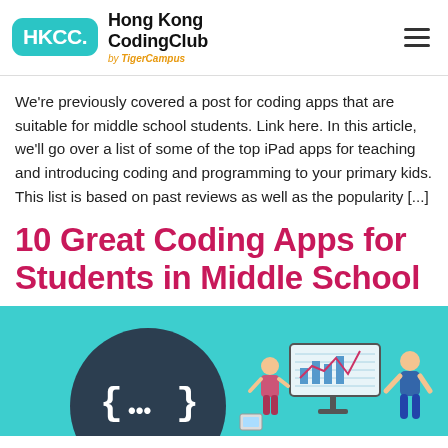HKCC. Hong Kong CodingClub by TigerCampus
We're previously covered a post for coding apps that are suitable for middle school students. Link here. In this article, we'll go over a list of some of the top iPad apps for teaching and introducing coding and programming to your primary kids. This list is based on past reviews as well as the popularity [...]
10 Great Coding Apps for Students in Middle School
[Figure (illustration): Teal/cyan background illustration showing a large dark circular speech bubble with curly braces and ellipsis {…} symbol on the left, and on the right a person sitting at a desk with a large monitor displaying charts and graphs, with a line chart visible. Educational coding themed illustration.]